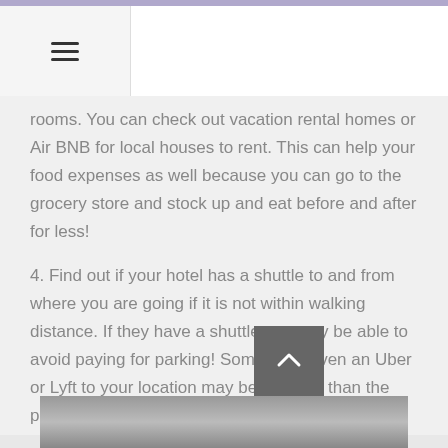≡
rooms. You can check out vacation rental homes or Air BNB for local houses to rent. This can help your food expenses as well because you can go to the grocery store and stock up and eat before and after for less!
4. Find out if your hotel has a shuttle to and from where you are going if it is not within walking distance. If they have a shuttle you may be able to avoid paying for parking! Sometimes even an Uber or Lyft to your location may be cheaper than the parking fee.
[Figure (other): Scroll-to-top button with upward chevron arrow on dark grey background]